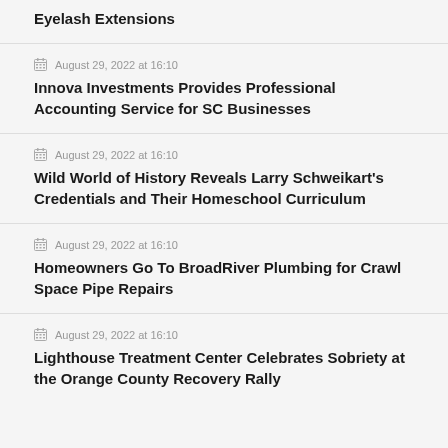Eyelash Extensions
August 29, 2022 at 16:10
Innova Investments Provides Professional Accounting Service for SC Businesses
August 29, 2022 at 16:10
Wild World of History Reveals Larry Schweikart's Credentials and Their Homeschool Curriculum
August 29, 2022 at 16:10
Homeowners Go To BroadRiver Plumbing for Crawl Space Pipe Repairs
August 29, 2022 at 16:10
Lighthouse Treatment Center Celebrates Sobriety at the Orange County Recovery Rally